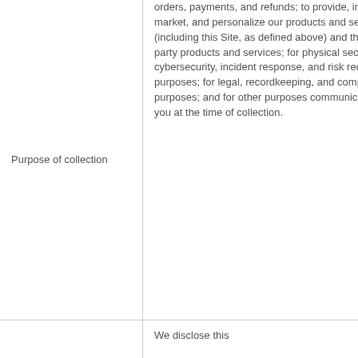| Purpose of collection | orders, payments, and refunds; to provide, improve, market, and personalize our products and services (including this Site, as defined above) and third-party products and services; for physical security, cybersecurity, incident response, and risk reduction purposes; for legal, recordkeeping, and compliance purposes; and for other purposes communicated to you at the time of collection. |
|  | We disclose this |